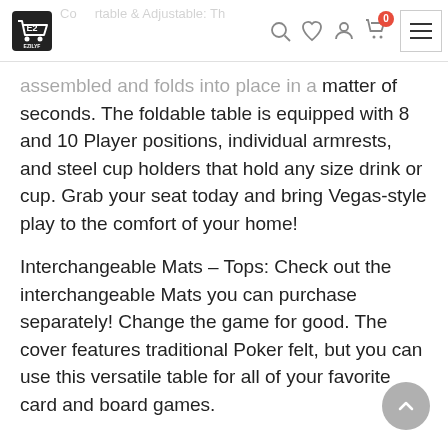EZILYF - ecommerce navigation bar with logo, search, wishlist, account, cart (0 items), and menu icons
assembled and folds into place in a matter of seconds. The foldable table is equipped with 8 and 10 Player positions, individual armrests, and steel cup holders that hold any size drink or cup. Grab your seat today and bring Vegas-style play to the comfort of your home!
Interchangeable Mats - Tops: Check out the interchangeable Mats you can purchase separately! Change the game for good. The cover features traditional Poker felt, but you can use this versatile table for all of your favorite card and board games.